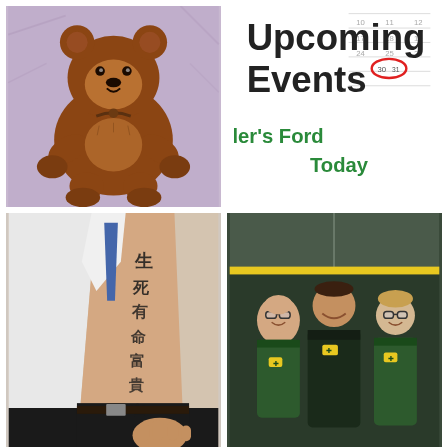[Figure (photo): A brown teddy bear sitting against a purple/lilac fabric background]
[Figure (infographic): Upcoming Events calendar graphic with Chandler's Ford Today branding. Large text reads 'Upcoming Events' with a calendar showing a circled date, and green text 'Chandler's Ford Today']
[Figure (photo): Close-up photo of a person's torso showing a vertical tattoo of Chinese/Japanese calligraphy characters on their side, shirt open]
[Figure (photo): Three NHS paramedics in green uniforms smiling in front of an ambulance]
[Figure (photo): An Environment Agency white van with green logo]
[Figure (photo): A stone or brick wall with some vegetation/plant growing on it]